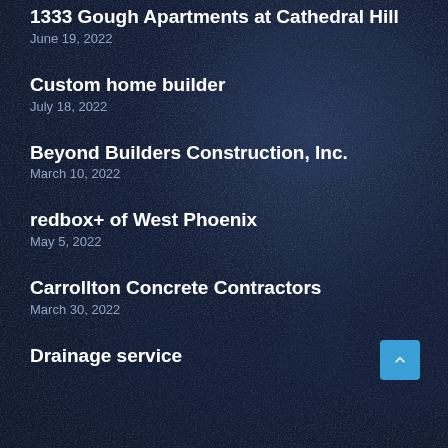1333 Gough Apartments at Cathedral Hill
June 19, 2022
Custom home builder
July 18, 2022
Beyond Builders Construction, Inc.
March 10, 2022
redbox+ of West Phoenix
May 5, 2022
Carrollton Concrete Contractors
March 30, 2022
Drainage service